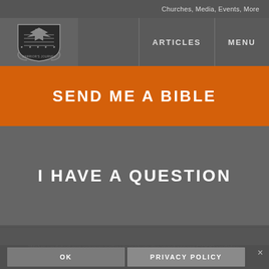Churches, Media, Events, More
[Figure (logo): The Warrior's Journey shield logo with eagle]
ARTICLES   MENU
SEND ME A BIBLE
I HAVE A QUESTION
PRAY FOR ME
We've updated our privacy policy to include the most recent GDPR updates.
OK   PRIVACY POLICY